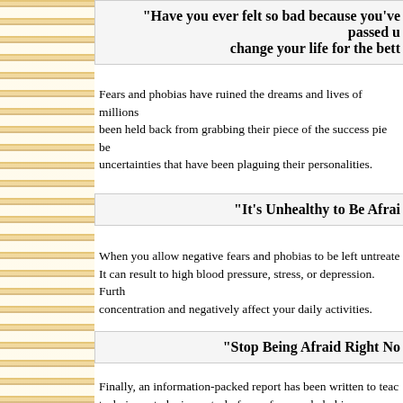"Have you ever felt so bad because you've passed up on an opportunity that could change your life for the better?"
Fears and phobias have ruined the dreams and lives of millions of people. Many have been held back from grabbing their piece of the success pie because of the fears and uncertainties that have been plaguing their personalities.
"It's Unhealthy to Be Afraid..."
When you allow negative fears and phobias to be left untreated, it damages your health. It can result to high blood pressure, stress, or depression. Furthermore, it can also hamper concentration and negatively affect your daily activities.
"Stop Being Afraid Right Now!"
Finally, an information-packed report has been written to teach you the most effective techniques to be in control of your fears and phobias.
How to Dominate Your Fears and Phobias
is an extraordinary report that reveals amazingly easy and even fun ways to conquer fears and phobias. It utilizes radical techniques to stop malicious fears dead on their tracks.